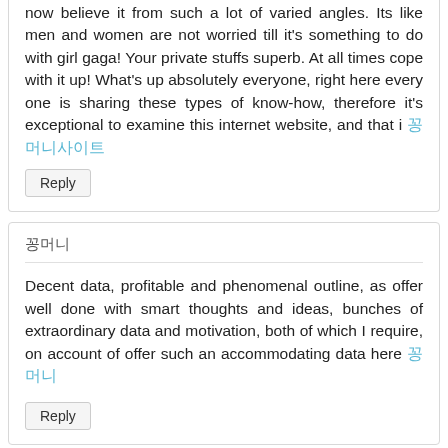now believe it from such a lot of varied angles. Its like men and women are not worried till it's something to do with girl gaga! Your private stuffs superb. At all times cope with it up! What's up absolutely everyone, right here every one is sharing these types of know-how, therefore it's exceptional to examine this internet website, and that i 꽁머니사이트
Reply
꽁머니
Decent data, profitable and phenomenal outline, as offer well done with smart thoughts and ideas, bunches of extraordinary data and motivation, both of which I require, on account of offer such an accommodating data here 꽁머니
Reply